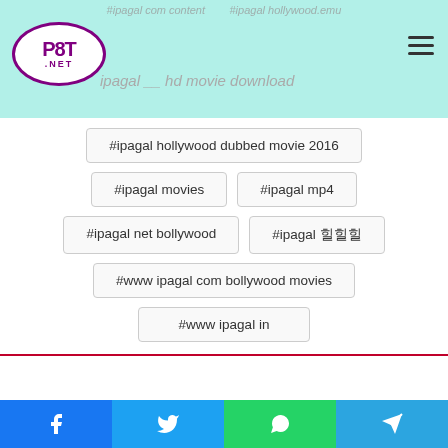P8T .NET — ipagal hd movie download
#ipagal hollywood dubbed movie 2016
#ipagal movies
#ipagal mp4
#ipagal net bollywood
#ipagal 힐힐힐
#www ipagal com bollywood movies
#www ipagal in
[Figure (infographic): Social share buttons row: Facebook (blue), Twitter (light blue), LinkedIn (dark blue), Tumblr (dark), Pinterest (red), Reddit (orange), VK (steel blue), Email (dark grey), Print (dark grey). Scroll-to-top button (blue). Bottom bar with Facebook, Twitter, WhatsApp, Telegram icons.]